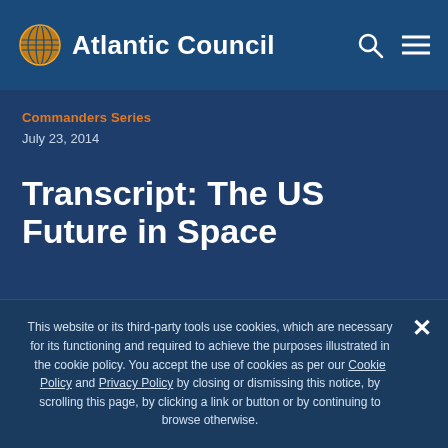[Figure (logo): Atlantic Council logo with globe icon and white text 'Atlantic Council' on dark blue navigation bar]
Commanders Series
July 23, 2014
Transcript: The US Future in Space
By The Atlantic Council
This website or its third-party tools use cookies, which are necessary for its functioning and required to achieve the purposes illustrated in the cookie policy. You accept the use of cookies as per our Cookie Policy and Privacy Policy by closing or dismissing this notice, by scrolling this page, by clicking a link or button or by continuing to browse otherwise.